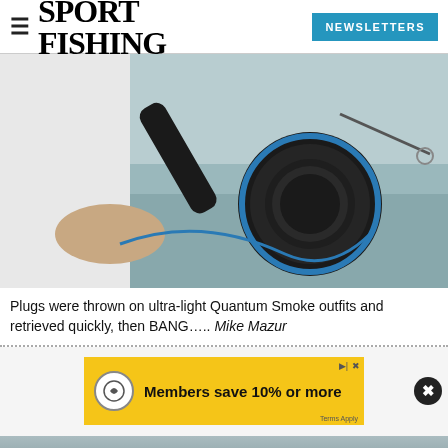SPORT FISHING | NEWSLETTERS
[Figure (photo): Close-up photo of a person holding a black and blue Quantum Smoke spinning reel over water, with a fishing rod visible.]
Plugs were thrown on ultra-light Quantum Smoke outfits and retrieved quickly, then BANG….. Mike Mazur
[Figure (infographic): Advertisement banner: Members save 10% or more. Terms Apply. Circular icon with arrow. Play and close controls visible. Close button (X) to the right.]